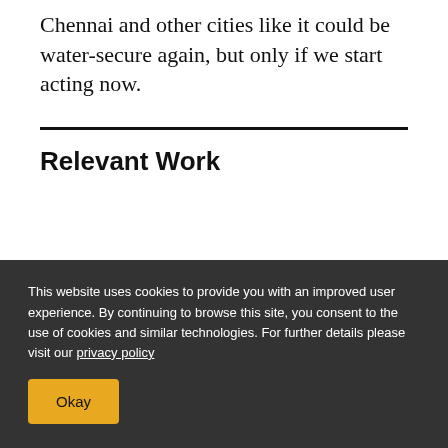Chennai and other cities like it could be water-secure again, but only if we start acting now.
Relevant Work
WATER
Aqueduct Water Risk Atlas
OCTOBER 6, 2021
This website uses cookies to provide you with an improved user experience. By continuing to browse this site, you consent to the use of cookies and similar technologies. For further details please visit our privacy policy
Okay